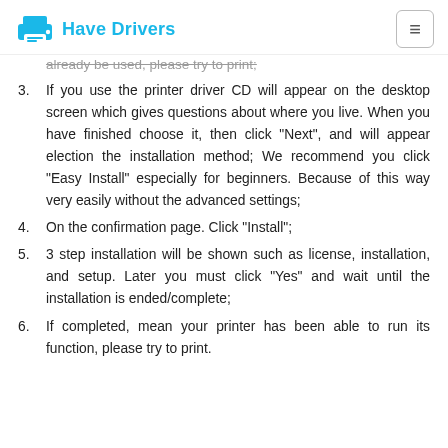Have Drivers
already be used, please try to print;
If you use the printer driver CD will appear on the desktop screen which gives questions about where you live. When you have finished choose it, then click "Next", and will appear election the installation method; We recommend you click "Easy Install" especially for beginners. Because of this way very easily without the advanced settings;
On the confirmation page. Click "Install";
3 step installation will be shown such as license, installation, and setup. Later you must click "Yes" and wait until the installation is ended/complete;
If completed, mean your printer has been able to run its function, please try to print.